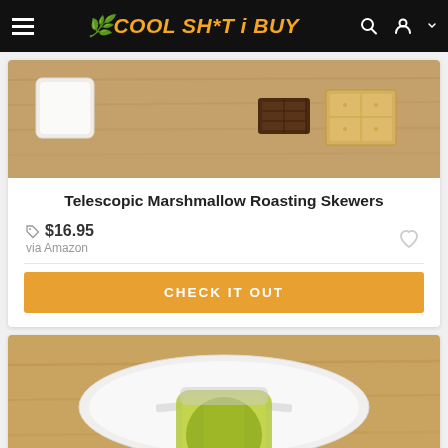COOL SH*T i BUY
[Figure (photo): Product photo of marshmallow and chocolate pieces on a wooden surface for telescopic marshmallow roasting skewers]
Telescopic Marshmallow Roasting Skewers
$16.95
via Amazon
CHECK IT OUT
[Figure (photo): Product photo showing a jar of pickles being opened with a white circular jar opener gadget held by a hand]